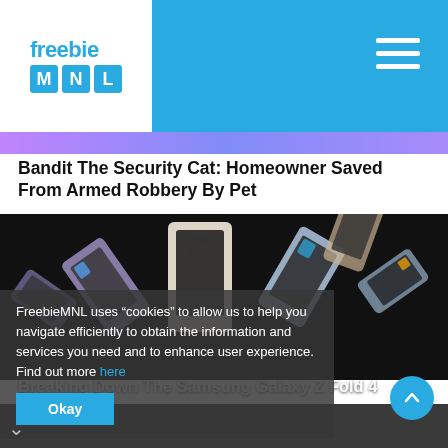freebie MNL
Bandit The Security Cat: Homeowner Saved From Armed Robbery By Pet
[Figure (photo): Samsung Galaxy Z Fold 4 phones arranged in a fan display on a dark background]
FreebieMNL uses “cookies” to allow us to help you navigate efficiently to obtain the information and services you need and to enhance user experience. Find out more here
Okay
Breaking Down The Samsung Galaxy Z Fold 4 An...